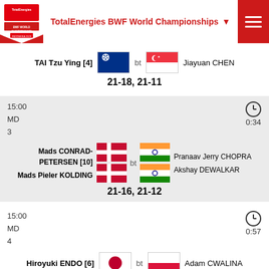[Figure (screenshot): BWF World Championships app header with logo and title]
TAI Tzu Ying [4] bt Jiayuan CHEN
21-18, 21-11
15:00
MD
3
0:34
Mads CONRAD-PETERSEN [10] bt Pranaav Jerry CHOPRA
Mads Pieler KOLDING    Akshay DEWALKAR
21-16, 21-12
15:00
MD
4
0:57
Hiroyuki ENDO [6] bt Adam CWALINA